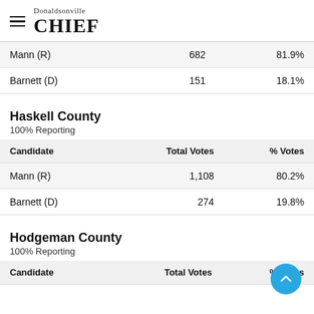Donaldsonville CHIEF
| Candidate | Total Votes | % Votes |
| --- | --- | --- |
| Mann (R) | 682 | 81.9% |
| Barnett (D) | 151 | 18.1% |
Haskell County
100% Reporting
| Candidate | Total Votes | % Votes |
| --- | --- | --- |
| Mann (R) | 1,108 | 80.2% |
| Barnett (D) | 274 | 19.8% |
Hodgeman County
100% Reporting
| Candidate | Total Votes | % Votes |
| --- | --- | --- |